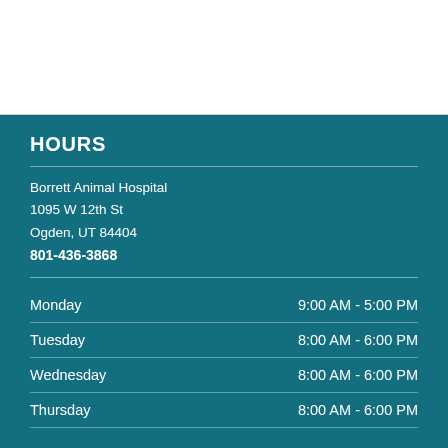HOURS
Borrett Animal Hospital
1095 W 12th St
Ogden, UT 84404
801-436-3868
| Day | Hours |
| --- | --- |
| Monday | 9:00 AM - 5:00 PM |
| Tuesday | 8:00 AM - 6:00 PM |
| Wednesday | 8:00 AM - 6:00 PM |
| Thursday | 8:00 AM - 6:00 PM |